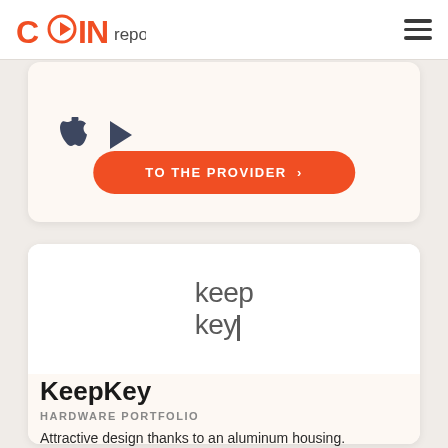COIN report
[Figure (logo): Apple App Store and Google Play Store icons]
TO THE PROVIDER >
[Figure (logo): KeepKey logo text in gray sans-serif font]
KeepKey
HARDWARE PORTFOLIO
Attractive design thanks to an aluminum housing.